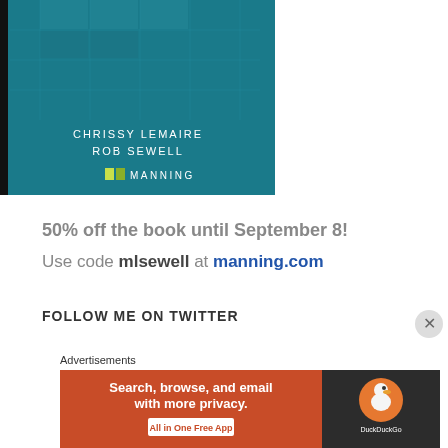[Figure (illustration): Book cover with teal/dark cyan background showing a grid/table graphic, authors CHRISSY LEMAIRE and ROB SEWELL, and MANNING publisher logo with green squares]
50% off the book until September 8!
Use code mlsewell at manning.com
FOLLOW ME ON TWITTER
Advertisements
[Figure (screenshot): DuckDuckGo advertisement banner: orange left panel reading 'Search, browse, and email with more privacy. All in One Free App' and dark right panel with DuckDuckGo duck logo]